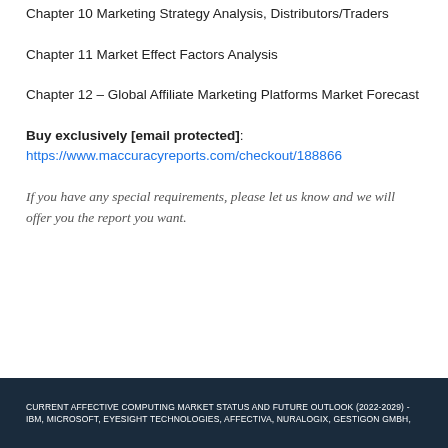Chapter 10 Marketing Strategy Analysis, Distributors/Traders
Chapter 11 Market Effect Factors Analysis
Chapter 12 – Global Affiliate Marketing Platforms Market Forecast
Buy exclusively [email protected]: https://www.maccuracyreports.com/checkout/188866
If you have any special requirements, please let us know and we will offer you the report you want.
CURRENT AFFECTIVE COMPUTING MARKET STATUS AND FUTURE OUTLOOK (2022-2029) -IBM, MICROSOFT, EYESIGHT TECHNOLOGIES, AFFECTIVA, NURALOGIX, GESTIGON GMBH,